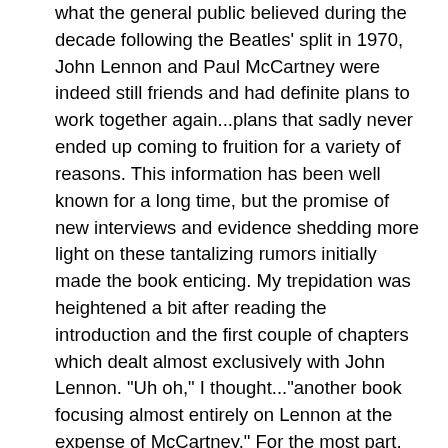what the general public believed during the decade following the Beatles' split in 1970, John Lennon and Paul McCartney were indeed still friends and had definite plans to work together again...plans that sadly never ended up coming to fruition for a variety of reasons. This information has been well known for a long time, but the promise of new interviews and evidence shedding more light on these tantalizing rumors initially made the book enticing. My trepidation was heightened a bit after reading the introduction and the first couple of chapters which dealt almost exclusively with John Lennon. "Uh oh," I thought..."another book focusing almost entirely on Lennon at the expense of McCartney." For the most part, that turned out to be the case with Come Together. While there was a lot of in-depth analysis and discussion of John's life and music in the immediate aftermath of the Beatles' break-up, any mention of McCartney was tossed in almost as an afterthought, or at best in a "oh yeah, Paul did something that year, too"